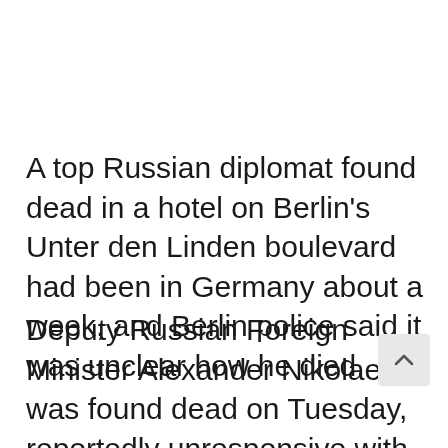A top Russian diplomat found dead in a hotel on Berlin's Unter den Linden boulevard had been in Germany about a week, and Berlin police said it was unclear how he died.
Deputy Russian Foreign Minister Alexander Nikolaev was found dead on Tuesday, reportedly unresponsive with a window up in his room at the Holiday Inn Express. He